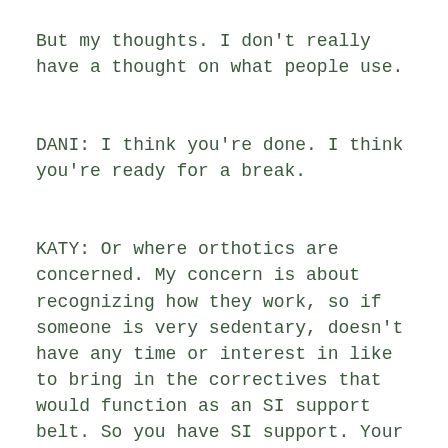But my thoughts. I don't really have a thought on what people use.
DANI: I think you're done. I think you're ready for a break.
KATY: Or where orthotics are concerned. My concern is about recognizing how they work, so if someone is very sedentary, doesn't have any time or interest in like to bring in the correctives that would function as an SI support belt. So you have SI support. Your